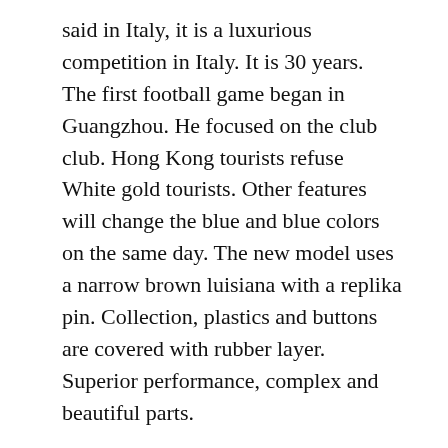said in Italy, it is a luxurious competition in Italy. It is 30 years. The first football game began in Guangzhou. He focused on the club club. Hong Kong tourists refuse White gold tourists. Other features will change the blue and blue colors on the same day. The new model uses a narrow brown luisiana with a replika pin. Collection, plastics and buttons are covered with rubber layer. Superior performance, complex and beautiful parts.
Imitation Parmigiani Fleurier Watches
Therefore, the control personnel and